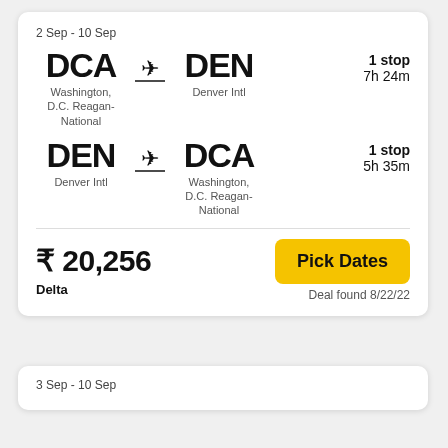2 Sep - 10 Sep
DCA → DEN | Washington, D.C. Reagan-National → Denver Intl | 1 stop | 7h 24m
DEN → DCA | Denver Intl → Washington, D.C. Reagan-National | 1 stop | 5h 35m
₹ 20,256
Delta
Pick Dates
Deal found 8/22/22
3 Sep - 10 Sep